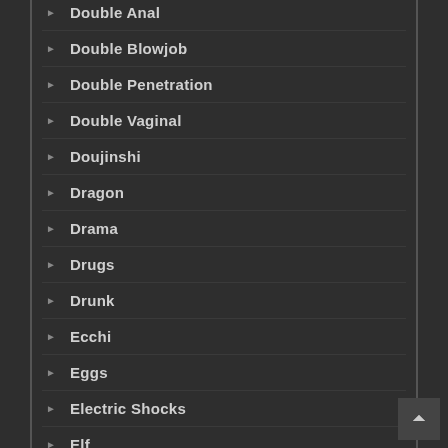Double Anal
Double Blowjob
Double Penetration
Double Vaginal
Doujinshi
Dragon
Drama
Drugs
Drunk
Ecchi
Eggs
Electric Shocks
Elf